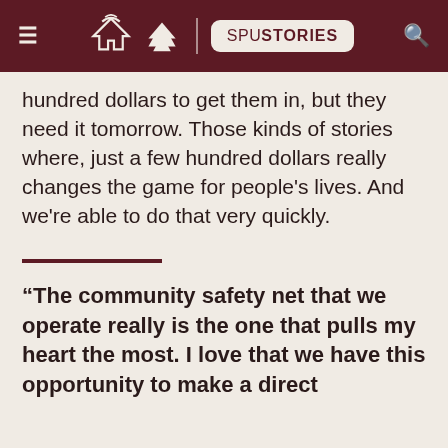SPU STORIES
hundred dollars to get them in, but they need it tomorrow. Those kinds of stories where, just a few hundred dollars really changes the game for people's lives. And we're able to do that very quickly.
“The community safety net that we operate really is the one that pulls my heart the most. I love that we have this opportunity to make a direct